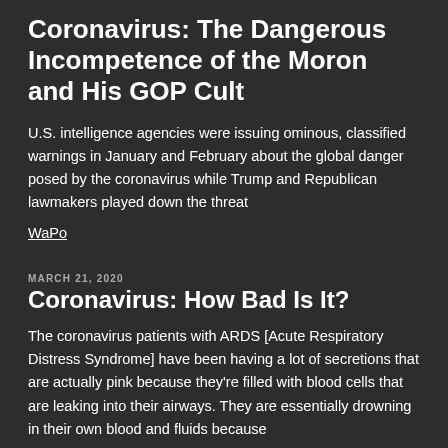Coronavirus: The Dangerous Incompetence of the Moron and His GOP Cult
U.S. intelligence agencies were issuing ominous, classified warnings in January and February about the global danger posed by the coronavirus while Trump and Republican lawmakers played down the threat
WaPo
MARCH 21, 2020
Coronavirus: How Bad Is It?
The coronavirus patients with ARDS [Acute Respiratory Distress Syndrome] have been having a lot of secretions that are actually pink because they're filled with blood cells that are leaking into their airways. They are essentially drowning in their own blood and fluids because